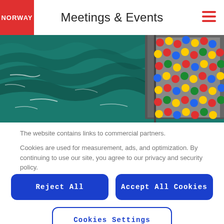Meetings & Events
[Figure (photo): Aerial view of a boat on teal ocean water with people in colorful gear on deck]
The website contains links to commercial partners.
Cookies are used for measurement, ads, and optimization. By continuing to use our site, you agree to our privacy and security policy.
Privacy and security policy
Reject All
Accept All Cookies
Cookies Settings